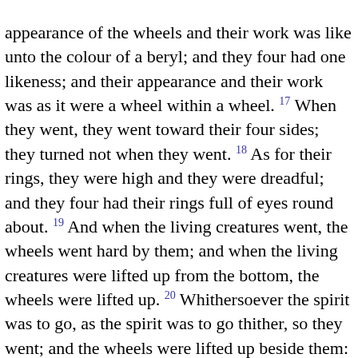appearance of the wheels and their work was like unto the colour of a beryl; and they four had one likeness; and their appearance and their work was as it were a wheel within a wheel. 17 When they went, they went toward their four sides; they turned not when they went. 18 As for their rings, they were high and they were dreadful; and they four had their rings full of eyes round about. 19 And when the living creatures went, the wheels went hard by them; and when the living creatures were lifted up from the bottom, the wheels were lifted up. 20 Whithersoever the spirit was to go, as the spirit was to go thither, so they went; and the wheels were lifted up beside them: for the spirit